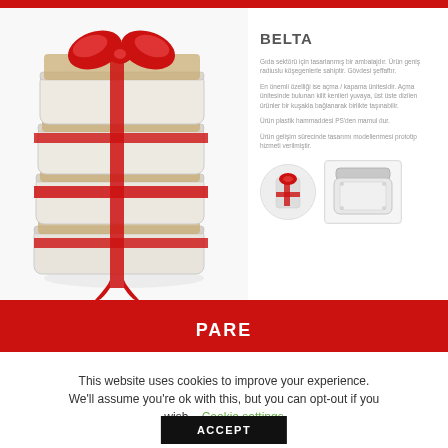[Figure (photo): Stack of four clear plastic square containers filled with nuts/cookies, tied with a red ribbon bow, shown against white background]
BELTA
Gıda sektörü için tasarlanmış bir ambalajdır. Ürün geniş radiuslu köşegenlerle sahiptir. Gövdesi şeffaftır.
En önemli özelliği ise açma / kapama ünitesidir. Açma ünitesinde bulunan kilit kenileri yuvaya, üst üste dizilen ürünler bir kuşakla bağlanarak birlikte taşınabilir.
Ürün plastik hammaddesi PS'den mamul dur.
Ürün gelişim sürecinde tasarımı modellenmesi prototip hizmeti verilmiştir.
[Figure (photo): Close-up circular thumbnail of the stacked containers with red ribbon]
[Figure (photo): Clear plastic square container with lid, shown empty]
PARE
This website uses cookies to improve your experience. We'll assume you're ok with this, but you can opt-out if you wish.   Cookie settings
ACCEPT